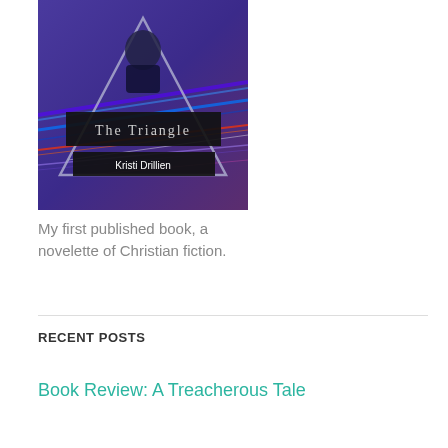[Figure (illustration): Book cover for 'The Triangle' by Kristi Drillien. Purple and blue abstract background with light streaks and a triangle outline. A person in dark clothing with chin resting on hand visible at top inside the triangle. Black banner with stylized text 'The Triangle' and black banner below with white text 'Kristi Drillien'.]
My first published book, a novelette of Christian fiction.
RECENT POSTS
Book Review: A Treacherous Tale